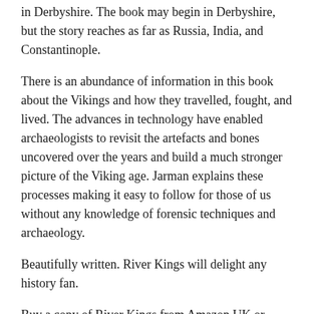in Derbyshire. The book may begin in Derbyshire, but the story reaches as far as Russia, India, and Constantinople.
There is an abundance of information in this book about the Vikings and how they travelled, fought, and lived. The advances in technology have enabled archaeologists to revisit the artefacts and bones uncovered over the years and build a much stronger picture of the Viking age. Jarman explains these processes making it easy to follow for those of us without any knowledge of forensic techniques and archaeology.
Beautifully written. River Kings will delight any history fan.
Buy a copy of River Kings from Amazon UK or Amazon US
Share this: